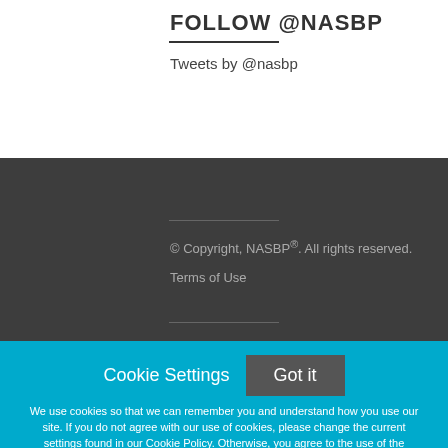FOLLOW @NASBP
Tweets by @nasbp
© Copyright, NASBP®. All rights reserved.
Terms of Use
Cookie Settings
Got it
We use cookies so that we can remember you and understand how you use our site. If you do not agree with our use of cookies, please change the current settings found in our Cookie Policy. Otherwise, you agree to the use of the cookies as they are currently set.